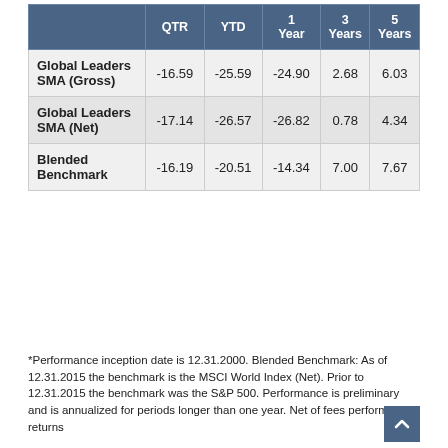|  | QTR | YTD | 1 Year | 3 Years | 5 Years |
| --- | --- | --- | --- | --- | --- |
| Global Leaders SMA (Gross) | -16.59 | -25.59 | -24.90 | 2.68 | 6.03 |
| Global Leaders SMA (Net) | -17.14 | -26.57 | -26.82 | 0.78 | 4.34 |
| Blended Benchmark | -16.19 | -20.51 | -14.34 | 7.00 | 7.67 |
*Performance inception date is 12.31.2000. Blended Benchmark: As of 12.31.2015 the benchmark is the MSCI World Index (Net). Prior to 12.31.2015 the benchmark was the S&P 500. Performance is preliminary and is annualized for periods longer than one year. Net of fees performance returns...